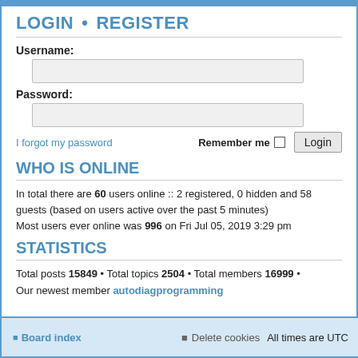LOGIN • REGISTER
Username:
Password:
I forgot my password    Remember me  Login
WHO IS ONLINE
In total there are 60 users online :: 2 registered, 0 hidden and 58 guests (based on users active over the past 5 minutes)
Most users ever online was 996 on Fri Jul 05, 2019 3:29 pm
STATISTICS
Total posts 15849 • Total topics 2504 • Total members 16999 •
Our newest member autodiagprogramming
Board index   Delete cookies   All times are UTC